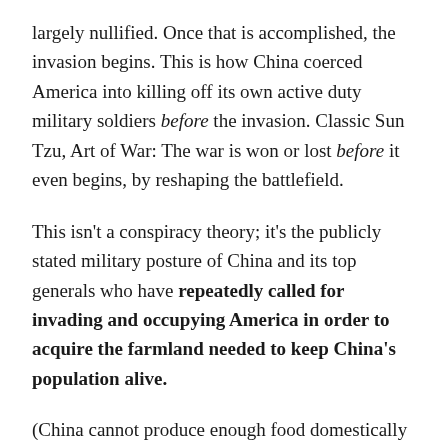largely nullified. Once that is accomplished, the invasion begins. This is how China coerced America into killing off its own active duty military soldiers before the invasion. Classic Sun Tzu, Art of War: The war is won or lost before it even begins, by reshaping the battlefield.
This isn't a conspiracy theory; it's the publicly stated military posture of China and its top generals who have repeatedly called for invading and occupying America in order to acquire the farmland needed to keep China's population alive.
(China cannot produce enough food domestically and must currently import food from all over the world.)
Watch my extensive interviews with JR Nyquist if you're